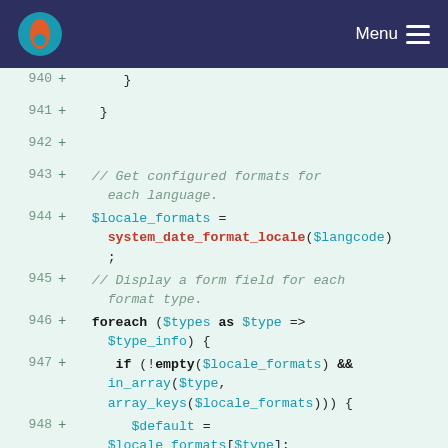Menu
[Figure (screenshot): Code diff view showing PHP lines 940-951 with line numbers, plus signs, and syntax highlighting on a light green background.]